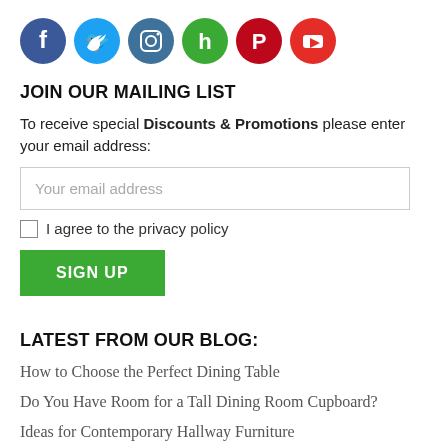[Figure (illustration): Six social media icon circles in a row: Facebook (blue), Twitter (light blue), Instagram (dark blue/grey), Hootsuit (green), Pinterest (red), YouTube (red with play button)]
JOIN OUR MAILING LIST
To receive special Discounts & Promotions please enter your email address:
Your email address
I agree to the privacy policy
SIGN UP
LATEST FROM OUR BLOG:
How to Choose the Perfect Dining Table
Do You Have Room for a Tall Dining Room Cupboard?
Ideas for Contemporary Hallway Furniture